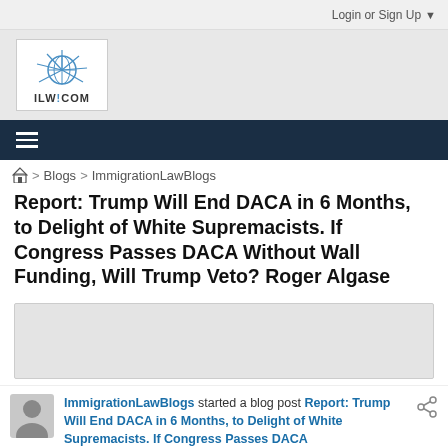Login or Sign Up ▼
[Figure (logo): ILW.COM logo with sunburst design]
≡ (navigation hamburger menu)
🏠 > Blogs > ImmigrationLawBlogs (breadcrumb)
Report: Trump Will End DACA in 6 Months, to Delight of White Supremacists. If Congress Passes DACA Without Wall Funding, Will Trump Veto? Roger Algase
[Figure (other): Advertisement placeholder box]
ImmigrationLawBlogs started a blog post Report: Trump Will End DACA in 6 Months, to Delight of White Supremacists. If Congress Passes DACA